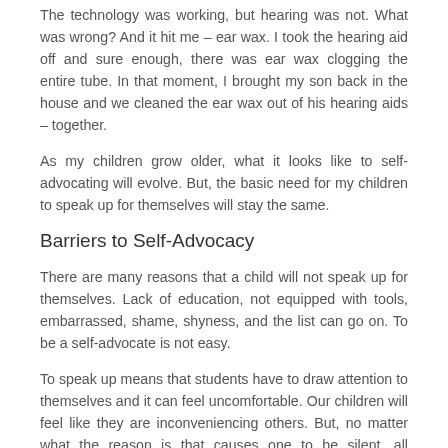The technology was working, but hearing was not. What was wrong? And it hit me – ear wax. I took the hearing aid off and sure enough, there was ear wax clogging the entire tube. In that moment, I brought my son back in the house and we cleaned the ear wax out of his hearing aids – together.
As my children grow older, what it looks like to self- advocating will evolve. But, the basic need for my children to speak up for themselves will stay the same.
Barriers to Self-Advocacy
There are many reasons that a child will not speak up for themselves. Lack of education, not equipped with tools, embarrassed, shame, shyness, and the list can go on. To be a self-advocate is not easy.
To speak up means that students have to draw attention to themselves and it can feel uncomfortable. Our children will feel like they are inconveniencing others. But, no matter what the reason is that causes one to be silent, all individuals with a hearing loss need to know that learning is their right. As their parent, you need to know this too. Speaking up and asking for accommodations is a necessity for all people who are deaf and have hearing loss. Self-advocacy is tough, but the rewards are